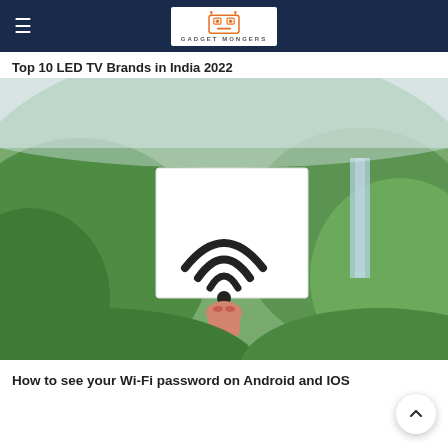GADGET MONGERS
Top 10 LED TV Brands in India 2022
[Figure (photo): A hand holding a white card with a Wi-Fi symbol in front of a green mountain landscape with waterfall in background]
How to see your Wi-Fi password on Android and IOS